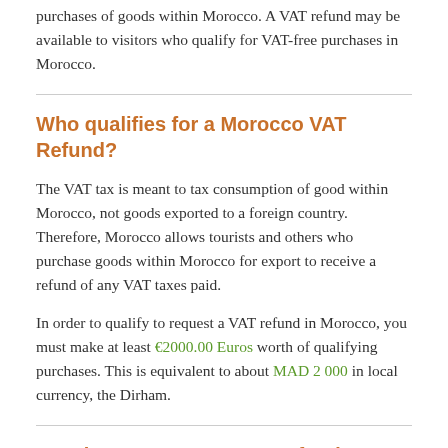purchases of goods within Morocco. A VAT refund may be available to visitors who qualify for VAT-free purchases in Morocco.
Who qualifies for a Morocco VAT Refund?
The VAT tax is meant to tax consumption of good within Morocco, not goods exported to a foreign country. Therefore, Morocco allows tourists and others who purchase goods within Morocco for export to receive a refund of any VAT taxes paid.
In order to qualify to request a VAT refund in Morocco, you must make at least €2000.00 Euros worth of qualifying purchases. This is equivalent to about MAD 2 000 in local currency, the Dirham.
How is my Morocco VAT Refund Calculated?
Your total gross purchase amounts will be summed and